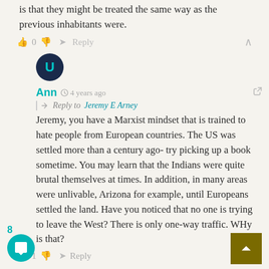is that they might be treated the same way as the previous inhabitants were.
👍 0 👎 ➤ Reply
[Figure (illustration): User avatar for Ann - circular profile picture with dark blue background and teal/cyan letter U icon]
Ann  🕐 4 years ago
Reply to Jeremy E Arney
Jeremy, you have a Marxist mindset that is trained to hate people from European countries. The US was settled more than a century ago- try picking up a book sometime. You may learn that the Indians were quite brutal themselves at times. In addition, in many areas were unlivable, Arizona for example, until Europeans settled the land. Have you noticed that no one is trying to leave the West? There is only one-way traffic. WHy is that?
👍 1 👎 ➤ Reply